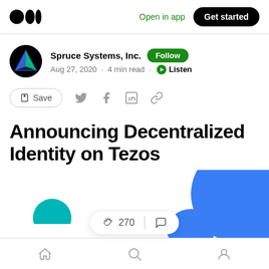Medium app header with logo, Open in app, Get started
Spruce Systems, Inc. · Follow · Aug 27, 2020 · 4 min read · Listen
Save (social share icons: Twitter, Facebook, LinkedIn, Link)
Announcing Decentralized Identity on Tezos
270 claps | comments
Bottom navigation: Home, Search, Profile